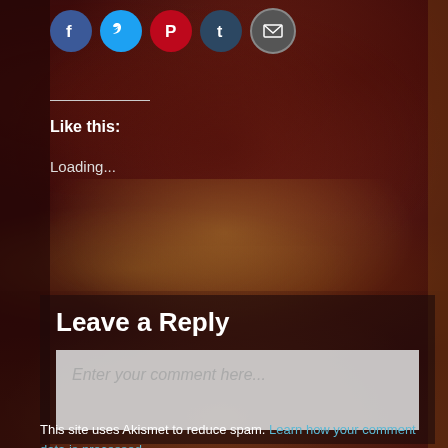[Figure (illustration): Social share icon circles: Facebook (blue), Twitter (cyan), Pinterest (red), Tumblr (dark blue), Email (grey) at top of page]
Like this:
Loading...
Leave a Reply
Enter your comment here...
This site uses Akismet to reduce spam. Learn how your comment data is processed.